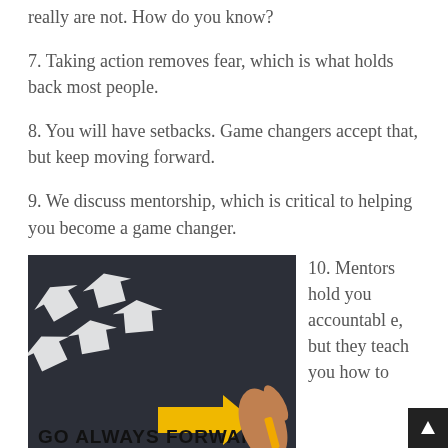really are not. How do you know?
7. Taking action removes fear, which is what holds back most people.
8. You will have setbacks. Game changers accept that, but keep moving forward.
9. We discuss mentorship, which is critical to helping you become a game changer.
[Figure (photo): Dark background with white arrow stickers pointing in various directions and a hand drawing a yellow arrow pointing right with chalk/crayon. Text overlay reads 'Go Always Forward' in bold black uppercase letters on a yellow arrow.]
10. Mentors hold you accountable, but they teach you how to